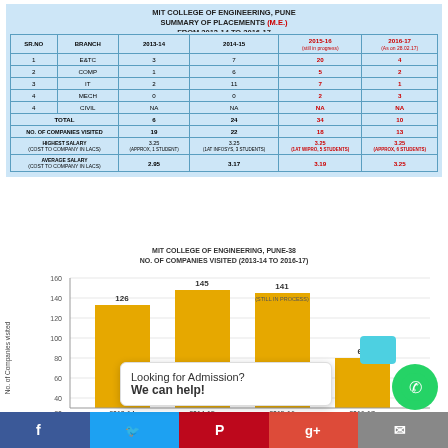MIT COLLEGE OF ENGINEERING, PUNE
SUMMARY OF PLACEMENTS (M.E.)
FROM 2013-14 TO 2016-17
| SR.NO | BRANCH | 2013-14 | 2014-15 | 2015-16 (still in progress) | 2016-17 (As on 28.02.17) |
| --- | --- | --- | --- | --- | --- |
| 1 | E&TC | 3 | 7 | 20 | 4 |
| 2 | COMP | 1 | 6 | 5 | 2 |
| 3 | IT | 2 | 11 | 7 | 1 |
| 4 | MECH | 0 | 0 | 2 | 3 |
| 4 | CIVIL | NA | NA | NA | NA |
|  | TOTAL | 6 | 24 | 34 | 10 |
|  | NO. OF COMPANIES VISITED | 19 | 22 | 18 | 13 |
|  | HIGHEST SALARY
(COST TO COMPANY IN LACS) | 3.25
(APPROX. 1 STUDENT) | 3.25
(1AT INFOSYS, 3 STUDENTS) | 3.25
(1AT WIPRO, 5 STUDENTS) | 3.25
(APPROX. 6 STUDENTS) |
|  | AVERAGE SALARY
(COST TO COMPANY IN LACS) | 2.95 | 3.17 | 3.19 | 3.25 |
[Figure (bar-chart): MIT COLLEGE OF ENGINEERING, PUNE-38
NO. OF COMPANIES VISITED (2013-14 TO 2016-17)]